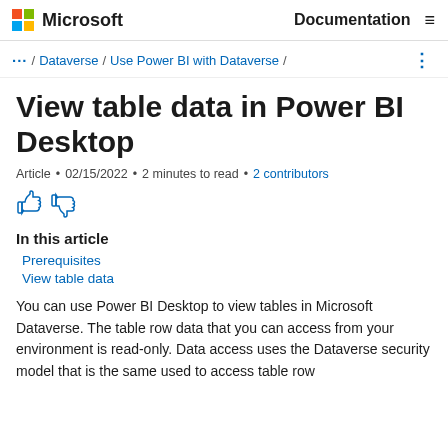Microsoft  Documentation
... / Dataverse / Use Power BI with Dataverse /
View table data in Power BI Desktop
Article • 02/15/2022 • 2 minutes to read • 2 contributors
In this article
Prerequisites
View table data
You can use Power BI Desktop to view tables in Microsoft Dataverse. The table row data that you can access from your environment is read-only. Data access uses the Dataverse security model that is the same used to access table row